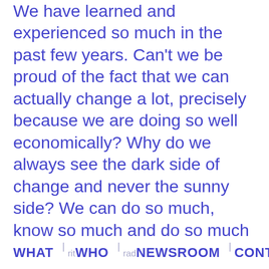We have learned and experienced so much in the past few years. Can't we be proud of the fact that we can actually change a lot, precisely because we are doing so well economically? Why do we always see the dark side of change and never the sunny side? We can do so much, know so much and do so much … but unfortunately not always the right thing. And don't get me wrong, I'm 100% involved in this equation!
Purely out of logic, money should never have a higher priority than health and our nature … But it does! The reprimanding and dominantly hummed sentence of our parents "never bite the hand that feeds you" seems to have mutated into a hypocritical paradox, especially in regards to the
WHAT   WHO   NEWSROOM   CONTACT